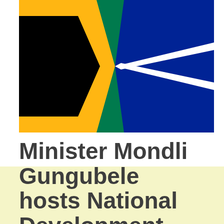[Figure (illustration): South African national flag showing black triangle on left with yellow border, horizontal green band through center, white diagonal stripes, blue rectangle on right, and green triangles top and bottom right.]
Minister Mondli Gungubele hosts National Development Plan Public Lecture 7